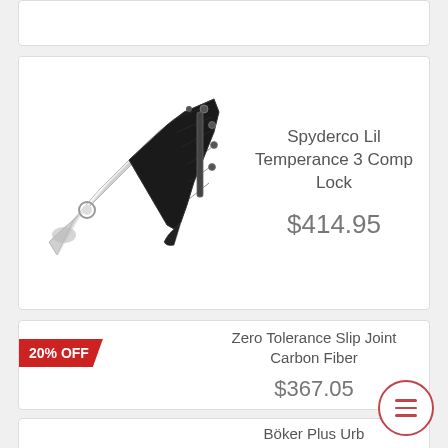[Figure (photo): Partial product card at top, clipped]
[Figure (photo): Spyderco folding knife with black G10 handle and silver blade, shown open at an angle]
Spyderco Lil Temperance 3 Comp Lock
$414.95
20% OFF
Zero Tolerance Slip Joint Carbon Fiber
$367.05
Böker Plus Urb Trapper G10